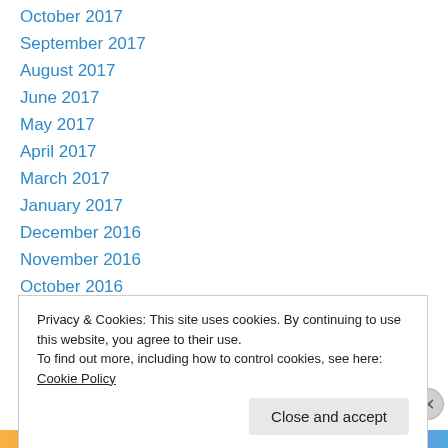October 2017
September 2017
August 2017
June 2017
May 2017
April 2017
March 2017
January 2017
December 2016
November 2016
October 2016
September 2016
August 2016
Privacy & Cookies: This site uses cookies. By continuing to use this website, you agree to their use. To find out more, including how to control cookies, see here: Cookie Policy
Close and accept